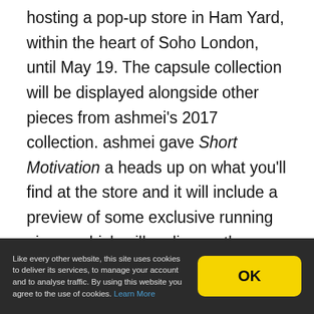hosting a pop-up store in Ham Yard, within the heart of Soho London, until May 19. The capsule collection will be displayed alongside other pieces from ashmei's 2017 collection. ashmei gave Short Motivation a heads up on what you'll find at the store and it will include a preview of some exclusive running pieces which will go live on the ashmei website after the closure of the pop-up store. Expect a not-to-be-missed exclusive ashmei sample sale to be held in the store from May 18-19.
Like every other website, this site uses cookies to deliver its services, to manage your account and to analyse traffic. By using this website you agree to the use of cookies. Learn More